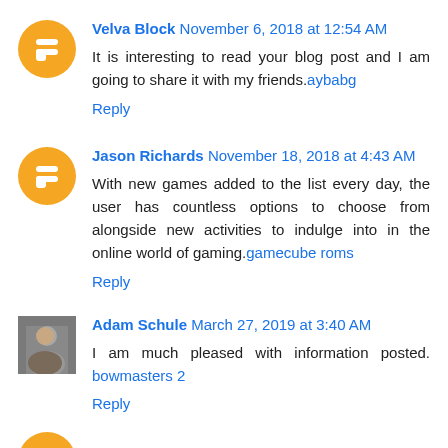Velva Block November 6, 2018 at 12:54 AM
It is interesting to read your blog post and I am going to share it with my friends.aybabg
Reply
Jason Richards November 18, 2018 at 4:43 AM
With new games added to the list every day, the user has countless options to choose from alongside new activities to indulge into in the online world of gaming.gamecube roms
Reply
Adam Schule March 27, 2019 at 3:40 AM
I am much pleased with information posted. bowmasters 2
Reply